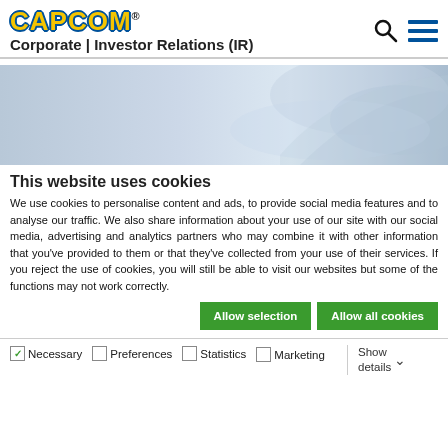CAPCOM® Corporate | Investor Relations (IR)
[Figure (illustration): Banner image with light blue background showing faint hand silhouette]
This website uses cookies
We use cookies to personalise content and ads, to provide social media features and to analyse our traffic. We also share information about your use of our site with our social media, advertising and analytics partners who may combine it with other information that you've provided to them or that they've collected from your use of their services. If you reject the use of cookies, you will still be able to visit our websites but some of the functions may not work correctly.
Allow selection | Allow all cookies
Necessary | Preferences | Statistics | Marketing | Show details